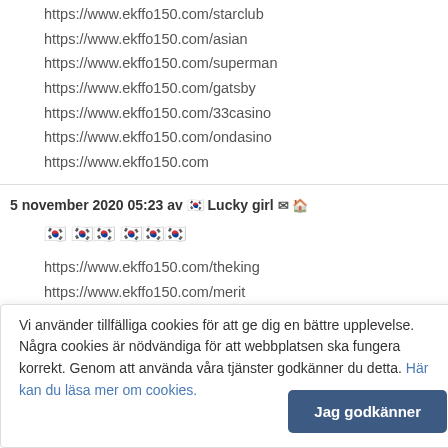https://www.ekffo150.com/starclub
https://www.ekffo150.com/asian
https://www.ekffo150.com/superman
https://www.ekffo150.com/gatsby
https://www.ekffo150.com/33casino
https://www.ekffo150.com/ondasino
https://www.ekffo150.com
5 november 2020 05:23 av 🇰🇷 Lucky girl ✉ 🏠
🇰🇷 🇰🇷🇰🇷 🇰🇷🇰🇷🇰🇷
https://www.ekffo150.com/theking
https://www.ekffo150.com/merit
https://www.ekffo150.com/yes
https://www.ekffo150.com/first
Vi använder tillfälliga cookies för att ge dig en bättre upplevelse. Några cookies är nödvändiga för att webbplatsen ska fungera korrekt. Genom att använda våra tjänster godkänner du detta. Här kan du läsa mer om cookies.